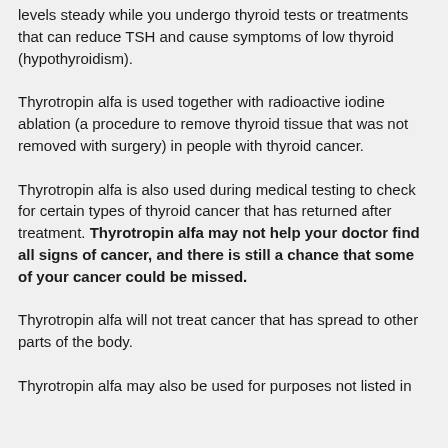levels steady while you undergo thyroid tests or treatments that can reduce TSH and cause symptoms of low thyroid (hypothyroidism).
Thyrotropin alfa is used together with radioactive iodine ablation (a procedure to remove thyroid tissue that was not removed with surgery) in people with thyroid cancer.
Thyrotropin alfa is also used during medical testing to check for certain types of thyroid cancer that has returned after treatment. Thyrotropin alfa may not help your doctor find all signs of cancer, and there is still a chance that some of your cancer could be missed.
Thyrotropin alfa will not treat cancer that has spread to other parts of the body.
Thyrotropin alfa may also be used for purposes not listed in